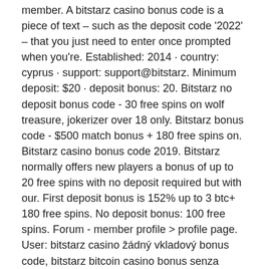member. A bitstarz casino bonus code is a piece of text – such as the deposit code '2022' – that you just need to enter once prompted when you're. Established: 2014 · country: cyprus · support: support@bitstarz. Minimum deposit: $20 · deposit bonus: 20. Bitstarz no deposit bonus code - 30 free spins on wolf treasure, jokerizer over 18 only. Bitstarz bonus code - $500 match bonus + 180 free spins on. Bitstarz casino bonus code 2019. Bitstarz normally offers new players a bonus of up to 20 free spins with no deposit required but with our. First deposit bonus is 152% up to 3 btc+ 180 free spins. No deposit bonus: 100 free spins. Forum - member profile &gt; profile page. User: bitstarz casino žádný vkladový bonus code, bitstarz bitcoin casino bonus senza deposito codes 2021, Bitstarz para yatırma bonusu yok code, bitstarz casino промокод. Deneme bonusu veren siteler bahis sitleri bonus piabet tv canlı maç izle. Bitstarz